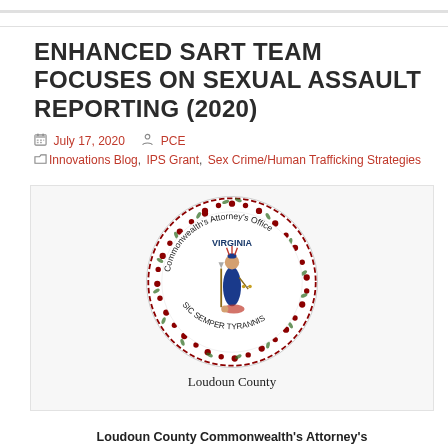ENHANCED SART TEAM FOCUSES ON SEXUAL ASSAULT REPORTING (2020)
July 17, 2020   PCE
Innovations Blog, IPS Grant, Sex Crime/Human Trafficking Strategies
[Figure (logo): Loudoun County Commonwealth's Attorney's Office seal with Virginia motto Sic Semper Tyrannis and the text 'Loudoun County' below]
Loudoun County Commonwealth's Attorney's